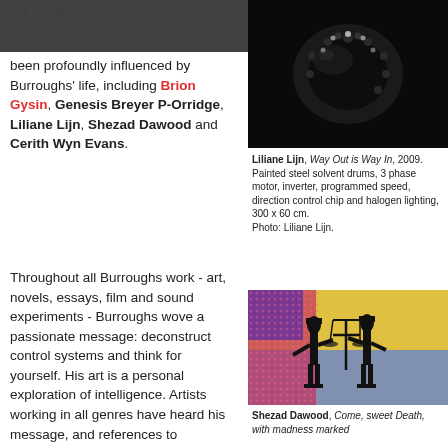october gallery
been profoundly influenced by Burroughs' life, including Brion Gysin, Genesis Breyer P-Orridge, Liliane Lijn, Shezad Dawood and Cerith Wyn Evans.
[Figure (photo): Dark photograph showing what appears to be a circular object or necklace against a black background]
Liliane Lijn, Way Out is Way In, 2009. Painted steel solvent drums, 3 phase motor, inverter, programmed speed, direction control chip and halogen lighting, 300 x 60 cm. Photo: Liliane Lijn.
Throughout all Burroughs work - art, novels, essays, film and sound experiments - Burroughs wove a passionate message: deconstruct control systems and think for yourself. His art is a personal exploration of intelligence. Artists working in all genres have heard his message, and references to Burroughs'
[Figure (photo): Colorful artwork showing silhouettes of Egyptian-style figures against a yellow, pink and blue background]
Shezad Dawood, Come, sweet Death, with madness marked